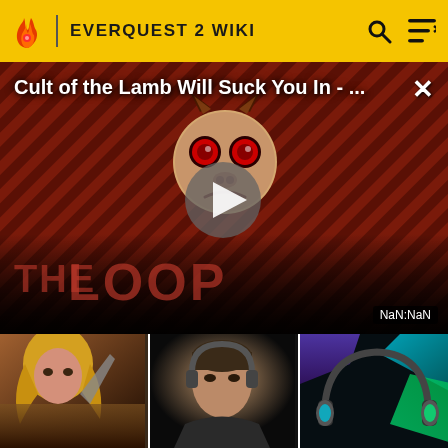EVERQUEST 2 WIKI
[Figure (screenshot): Video player showing 'Cult of the Lamb Will Suck You In - ...' with The Loop branding, play button overlay, diagonal striped dark red background with cartoon character logo, timestamp showing NaN:NaN]
[Figure (screenshot): Thumbnail strip showing three images: fantasy female character (left), person with headset in dark setting (center), gaming headset with RGB lighting in teal/green (right)]